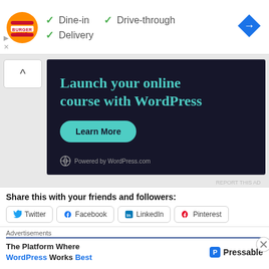[Figure (screenshot): Burger King logo with orange and red circular emblem and text BURGER KING]
✓ Dine-in  ✓ Drive-through
✓ Delivery
[Figure (logo): Blue diamond navigation arrow icon]
[Figure (screenshot): WordPress advertisement: Launch your online course with WordPress. Learn More button. Powered by WordPress.com]
Share this with your friends and followers:
Twitter
Facebook
LinkedIn
Pinterest
Advertisements
The Platform Where WordPress Works Best
[Figure (logo): Pressable logo with blue P icon]